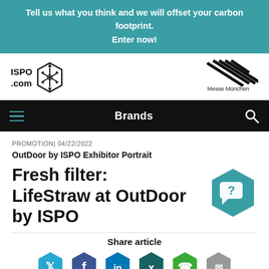Tell us what you think and we will offset your carbon footprint. Enter now!
[Figure (logo): ISPO.com hexagon logo on left; Messe München diagonal stripes logo on right]
[Figure (screenshot): Navigation bar with hamburger menu icon (teal lines), Brands label in white, and search icon on dark/black background]
PROMOTION| 04/22/2022
OutDoor by ISPO Exhibitor Portrait
Fresh filter: LifeStraw at OutDoor by ISPO
Share article
[Figure (illustration): Social media share icons: Twitter (teal hexagon), Facebook (dark blue hexagon), LinkedIn (blue hexagon), Xing (dark teal hexagon), Phone (green hexagon), Email (gray hexagon)]